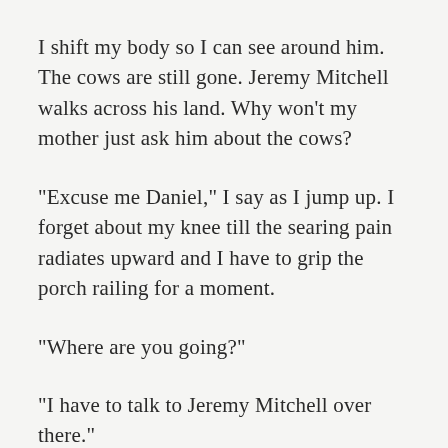I shift my body so I can see around him. The cows are still gone. Jeremy Mitchell walks across his land. Why won’t my mother just ask him about the cows?
“Excuse me Daniel,” I say as I jump up. I forget about my knee till the searing pain radiates upward and I have to grip the porch railing for a moment.
“Where are you going?”
“I have to talk to Jeremy Mitchell over there.”